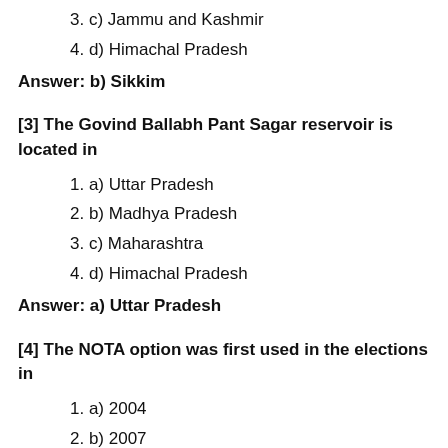3. c) Jammu and Kashmir
4. d) Himachal Pradesh
Answer: b) Sikkim
[3] The Govind Ballabh Pant Sagar reservoir is located in
1. a) Uttar Pradesh
2. b) Madhya Pradesh
3. c) Maharashtra
4. d) Himachal Pradesh
Answer: a) Uttar Pradesh
[4] The NOTA option was first used in the elections in
1. a) 2004
2. b) 2007
3. c) 2013
4. d) 2015